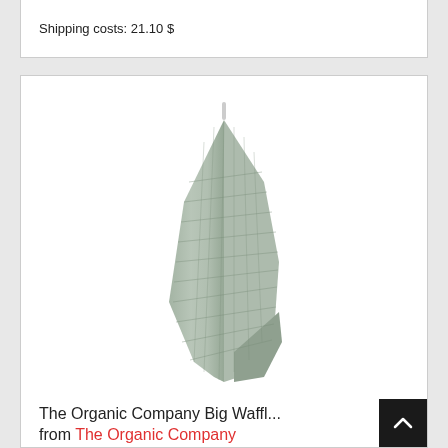Shipping costs: 21.10 $
[Figure (photo): A gray waffle-weave cloth or towel hanging from a hook, photographed on white background]
The Organic Company Big Waffl... from The Organic Company found at Finnish Design Shop
49.35 $
Shipping costs: 21.15 $